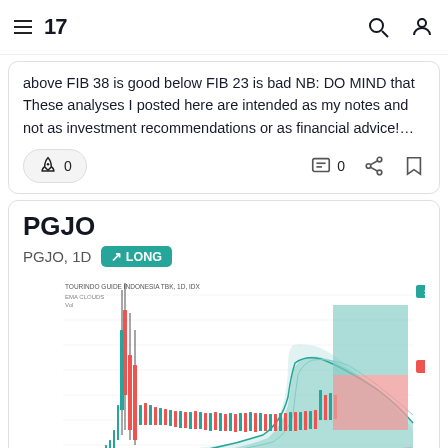TradingView logo and navigation bar
above FIB 38 is good below FIB 23 is bad NB: DO MIND that These analyses I posted here are intended as my notes and not as investment recommendations or as financial advice!...
0  0
PGJO
PGJO, 1D  ↗ LONG
[Figure (continuous-plot): Candlestick chart of TOURINDO GUIDE INDONESIA TBK, 1D, IDX with EMA CLOUDS and Vol overlay. Shows price history with a sharp spike upward then consolidation. A teal/green rectangle (target zone) and a red/pink rectangle (support/stop zone) are annotated on the right side of the chart. Price levels on y-axis range from approximately 40 to 130. Current price label shows 113 in green and 78 in red.]